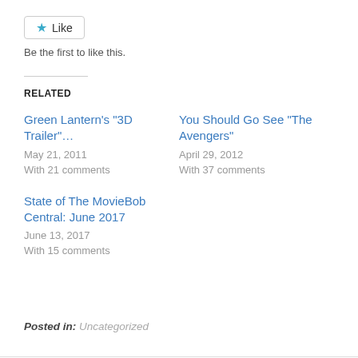[Figure (other): Like button with a blue star icon and the label 'Like']
Be the first to like this.
RELATED
Green Lantern's "3D Trailer"…
May 21, 2011
With 21 comments
You Should Go See "The Avengers"
April 29, 2012
With 37 comments
State of The MovieBob Central: June 2017
June 13, 2017
With 15 comments
Posted in: Uncategorized